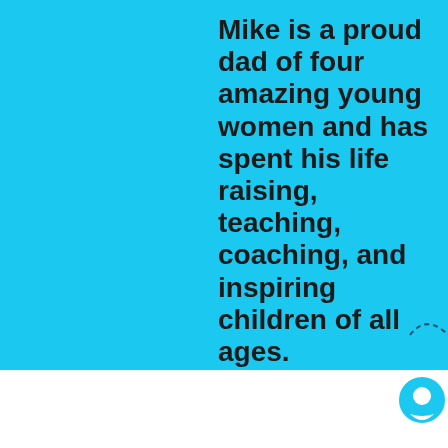Mike is a proud dad of four amazing young women and has spent his life raising, teaching, coaching, and inspiring children of all ages.
[Figure (infographic): Four circular dark brown social media icons in a row: Facebook, Instagram, Twitter, YouTube]
[Figure (illustration): Decorative dashed squiggly line with small circles at the bottom of the cyan section]
[Figure (illustration): Small circular chat bubble icon in the bottom right corner on white background]